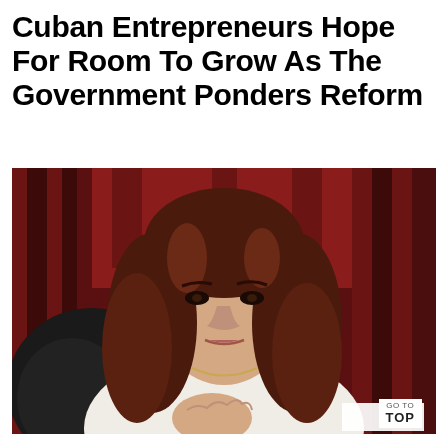Cuban Entrepreneurs Hope For Room To Grow As The Government Ponders Reform
[Figure (photo): A woman with dark auburn shoulder-length hair wearing a white blouse, seated in a dark leather chair, with red curtains in the background. Her right hand rests on her chest. A small 'GO TO TOP' button overlay appears in the bottom-right corner.]